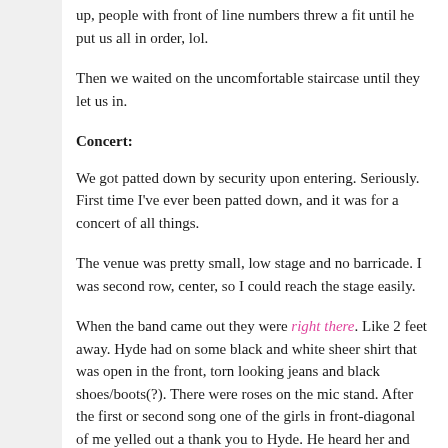up, people with front of line numbers threw a fit until he put us all in order, lol.
Then we waited on the uncomfortable staircase until they let us in.
Concert:
We got patted down by security upon entering. Seriously. First time I've ever been patted down, and it was for a concert of all things.
The venue was pretty small, low stage and no barricade. I was second row, center, so I could reach the stage easily.
When the band came out they were right there. Like 2 feet away. Hyde had on some black and white sheer shirt that was open in the front, torn looking jeans and black shoes/boots(?). There were roses on the mic stand. After the first or second song one of the girls in front-diagonal of me yelled out a thank you to Hyde. He heard her and glanced at her, we all squealed, of course.
I had a nice clear view. I was also in perfect molestation position. Several times during the show Hyde would stand on the boxes (amps?) at the edge of the stage. All I had to do was reach